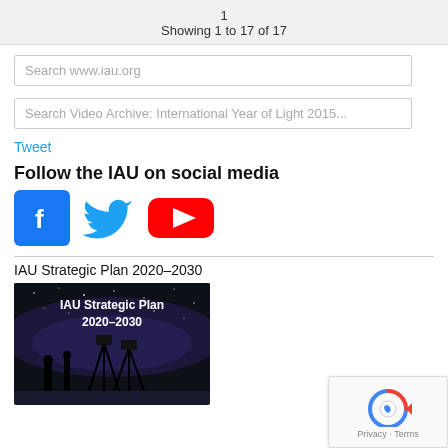1
Showing 1 to 17 of 17
Search www.iau.org
Search Video Archive: International Year of Light 2015...
Tweet
Follow the IAU on social media
[Figure (logo): Facebook, Twitter, YouTube social media icons]
IAU Strategic Plan 2020–2030
[Figure (photo): IAU Strategic Plan 2020-2030 cover image showing silhouettes of people under a starry night sky with Milky Way]
[Figure (other): reCAPTCHA widget with Privacy and Terms links]